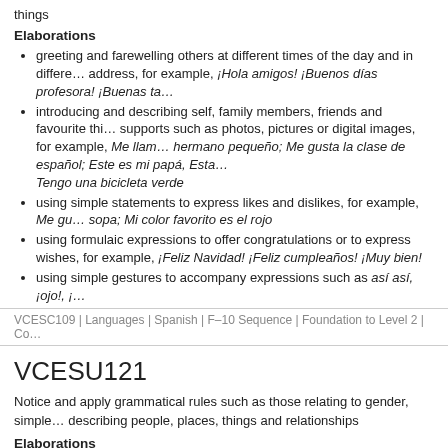things
Elaborations
greeting and farewelling others at different times of the day and in different contexts using appropriate forms of address, for example, ¡Hola amigos! ¡Buenos días profesora! ¡Buenas ta…
introducing and describing self, family members, friends and favourite things using visual supports such as photos, pictures or digital images, for example, Me llam… hermano pequeño; Me gusta la clase de español; Este es mi papá, Esta… Tengo una bicicleta verde
using simple statements to express likes and dislikes, for example, Me gu… sopa; Mi color favorito es el rojo
using formulaic expressions to offer congratulations or to express wishes, for example, ¡Feliz Navidad! ¡Feliz cumpleaños! ¡Muy bien!
using simple gestures to accompany expressions such as así así, ¡ojo!, ¡…
VCESC109 | Languages | Spanish | F–10 Sequence | Foundation to Level 2 | Co…
VCESU121
Notice and apply grammatical rules such as those relating to gender, simple… describing people, places, things and relationships
Elaborations
learning the structure of simple affirmative/negative statements and ques… tengo perro. Gloria come verduras. ¿Maria tiene cinco años?
recognising definite and indefinite articles with nouns, for example, la me…